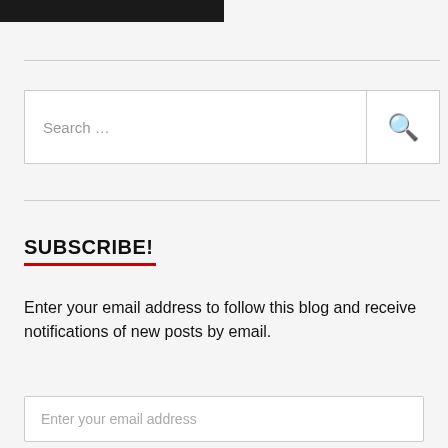[Figure (screenshot): Partial top image strip, black rectangle, cropped at top of page]
Search …
SUBSCRIBE!
Enter your email address to follow this blog and receive notifications of new posts by email.
Enter your email address